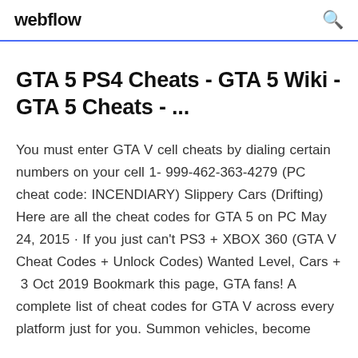webflow
GTA 5 PS4 Cheats - GTA 5 Wiki - GTA 5 Cheats - ...
You must enter GTA V cell cheats by dialing certain numbers on your cell 1- 999-462-363-4279 (PC cheat code: INCENDIARY) Slippery Cars (Drifting) Here are all the cheat codes for GTA 5 on PC May 24, 2015 · If you just can't PS3 + XBOX 360 (GTA V Cheat Codes + Unlock Codes) Wanted Level, Cars + 3 Oct 2019 Bookmark this page, GTA fans! A complete list of cheat codes for GTA V across every platform just for you. Summon vehicles, become...